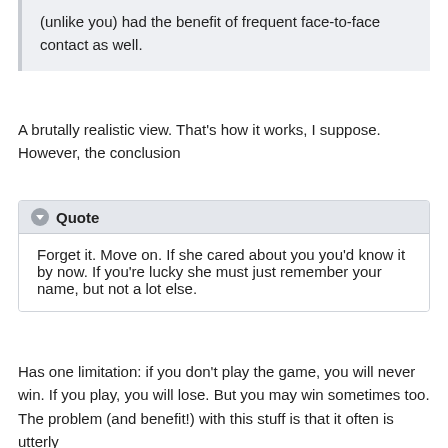(unlike you) had the benefit of frequent face-to-face contact as well.
A brutally realistic view. That's how it works, I suppose. However, the conclusion
Quote
Forget it. Move on. If she cared about you you'd know it by now. If you're lucky she must just remember your name, but not a lot else.
Has one limitation: if you don't play the game, you will never win. If you play, you will lose. But you may win sometimes too. The problem (and benefit!) with this stuff is that it often is utterly